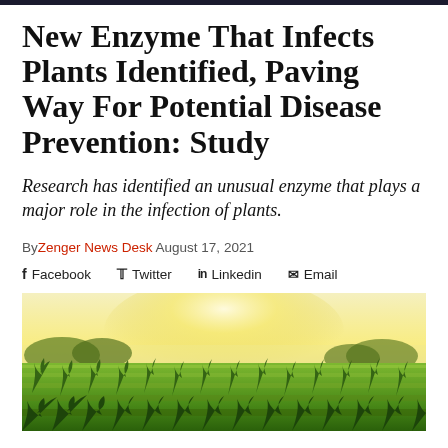New Enzyme That Infects Plants Identified, Paving Way For Potential Disease Prevention: Study
Research has identified an unusual enzyme that plays a major role in the infection of plants.
By Zenger News Desk  August 17, 2021
Facebook  Twitter  Linkedin  Email
[Figure (photo): Wide-angle photograph of a green crop field under a bright, hazy sunlit sky with trees in the background]